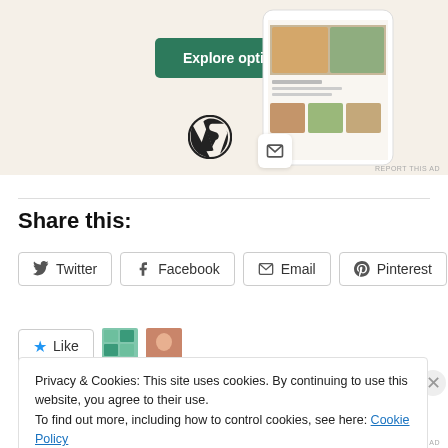[Figure (screenshot): WordPress ad banner with green Explore options button, WordPress logo, and phone mockup showing website templates]
REPORT THIS AD
Share this:
Twitter
Facebook
Email
Pinterest
Like
Privacy & Cookies: This site uses cookies. By continuing to use this website, you agree to their use.
To find out more, including how to control cookies, see here: Cookie Policy
Close and accept
REPORT THIS AD